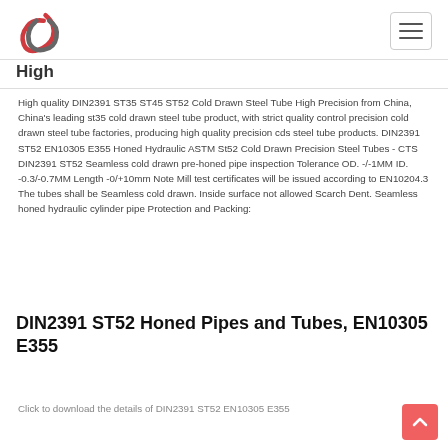High
High quality DIN2391 ST35 ST45 ST52 Cold Drawn Steel Tube High Precision from China, China's leading st35 cold drawn steel tube product, with strict quality control precision cold drawn steel tube factories, producing high quality precision cds steel tube products. DIN2391 ST52 EN10305 E355 Honed Hydraulic ASTM St52 Cold Drawn Precision Steel Tubes - CTS DIN2391 ST52 Seamless cold drawn pre-honed pipe inspection Tolerance OD. -/-1MM ID. -0.3/-0.7MM Length -0/+10mm Note Mill test certificates will be issued according to EN10204.3 The tubes shall be Seamless cold drawn. Inside surface not allowed Scarch Dent. Seamless honed hydraulic cylinder pipe Protection and Packing:
DIN2391 ST52 Honed Pipes and Tubes, EN10305 E355
Click to download the details of DIN2391 ST52 EN10305 E355